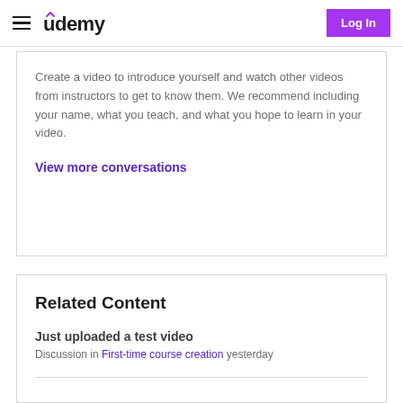udemy | Log In
Create a video to introduce yourself and watch other videos from instructors to get to know them. We recommend including your name, what you teach, and what you hope to learn in your video.
View more conversations
Related Content
Just uploaded a test video
Discussion in First-time course creation yesterday